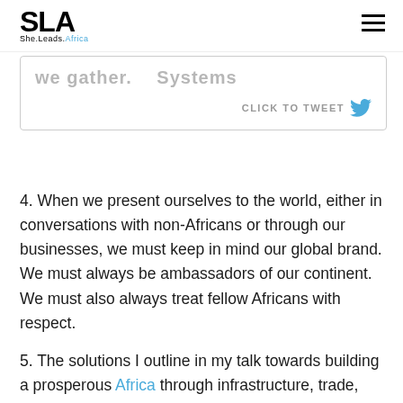SLA She.Leads.Africa
[Figure (screenshot): Tweet box with partially visible bold text and a 'CLICK TO TWEET' button with Twitter bird icon]
4. When we present ourselves to the world, either in conversations with non-Africans or through our businesses, we must keep in mind our global brand. We must always be ambassadors of our continent. We must also always treat fellow Africans with respect.
5. The solutions I outline in my talk towards building a prosperous Africa through infrastructure, trade, industry, and education need urgent attention. I oo